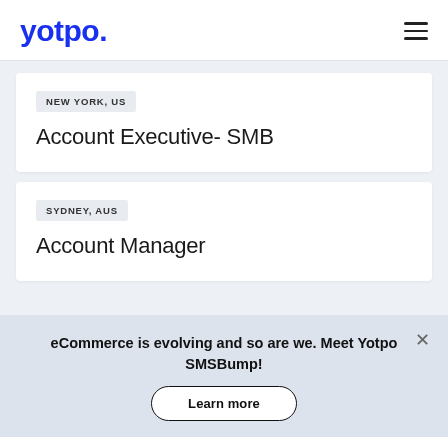yotpo.
NEW YORK, US
Account Executive- SMB
SYDNEY, AUS
Account Manager
eCommerce is evolving and so are we. Meet Yotpo SMSBump!
Learn more